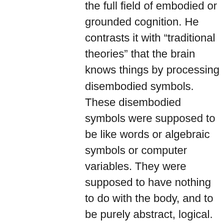the full field of embodied or grounded cognition. He contrasts it with “traditional theories” that the brain knows things by processing disembodied symbols. These disembodied symbols were supposed to be like words or algebraic symbols or computer variables. They were supposed to have nothing to do with the body, and to be purely abstract, logical. In this view, your brain was supposed to be an all-purpose computer that processed ideas, and what came out was sometimes brilliant, like E=mc2. But what if your brain is not so much “pure intelligence” as the distillation of what your hands and feet know?
The new theory is a patchwork but its parts are being knitted together rapidly and a coherent pattern is showing up. Grounded